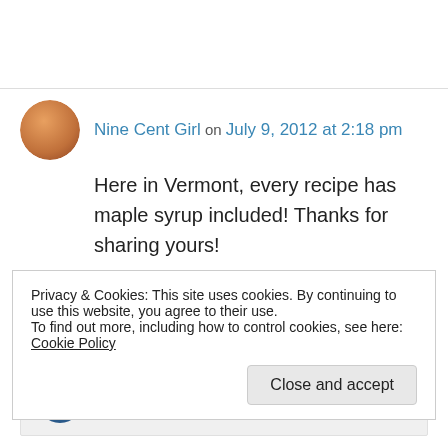Nine Cent Girl on July 9, 2012 at 2:18 pm
Here in Vermont, every recipe has maple syrup included! Thanks for sharing yours!
↳ Reply
thehungrymum on July 10, 2012 at 11:15 am
Privacy & Cookies: This site uses cookies. By continuing to use this website, you agree to their use.
To find out more, including how to control cookies, see here: Cookie Policy
Close and accept